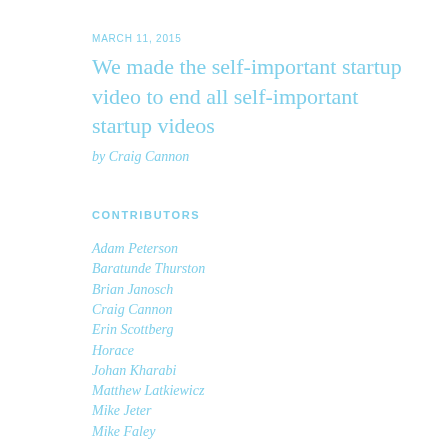MARCH 11, 2015
We made the self-important startup video to end all self-important startup videos
by Craig Cannon
CONTRIBUTORS
Adam Peterson
Baratunde Thurston
Brian Janosch
Craig Cannon
Erin Scottberg
Horace
Johan Kharabi
Matthew Latkiewicz
Mike Jeter
Mike Faley